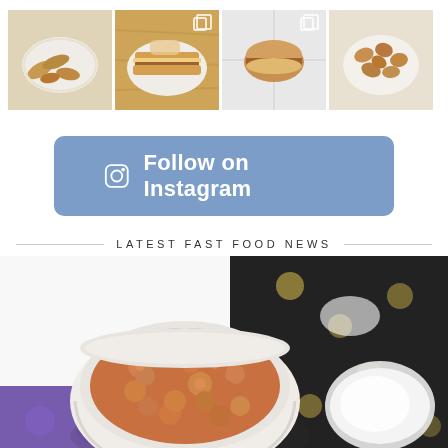[Figure (photo): 4 Instagram food photos in a grid: 1) chicken tenders on a white plate, 2) hand holding layered sandwich on a wooden surface, 3) burger/sandwich on white tile background with copy icon, 4) chicken nuggets on a white plate]
[Figure (other): Follow on Instagram button with Instagram icon, blue/steel blue rounded rectangle background]
LATEST FAST FOOD NEWS
[Figure (photo): Overhead shot of a bowl of seasoned/sauced gnocchi or potato bites next to a powdered sugar-dusted beignet on a dark tray with yellow smiley face pattern, purple napkin with smiley faces underneath]